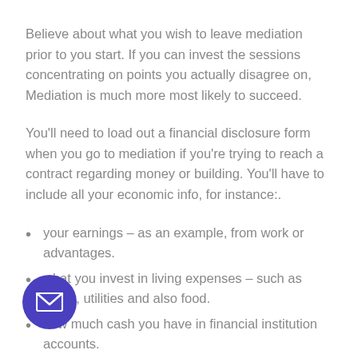Believe about what you wish to leave mediation prior to you start. If you can invest the sessions concentrating on points you actually disagree on, Mediation is much more most likely to succeed.
You'll need to load out a financial disclosure form when you go to mediation if you're trying to reach a contract regarding money or building. You'll have to include all your economic info, for instance:.
your earnings – as an example, from work or advantages.
what you invest in living expenses – such as transport, utilities and also food.
how much cash you have in financial institution accounts.